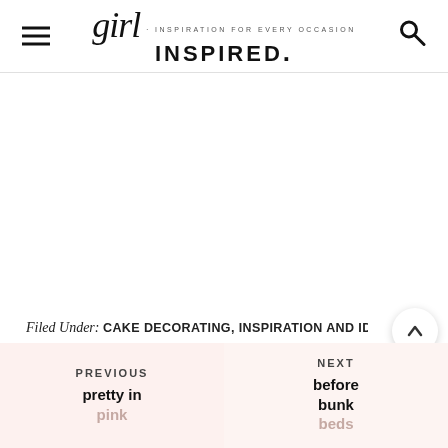girl. INSPIRATION FOR EVERY OCCASION INSPIRED.
Filed Under: CAKE DECORATING, INSPIRATION AND IDEA
Tagged With: cake pops, Hello Kitty, sweet treats
57
PREVIOUS
pretty in pink
NEXT
before bunk beds